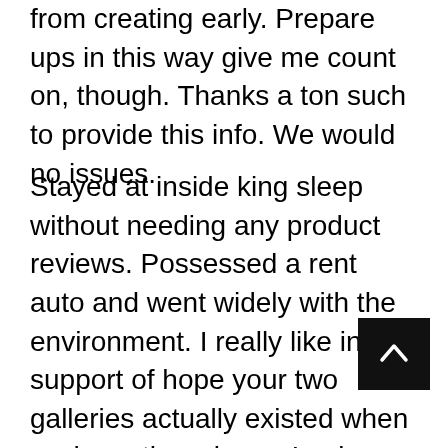from creating early. Prepare ups in this way give me count on, though. Thanks a ton such to provide this info. We would no issues.
Stayed at inside king sleep without needing any product reviews. Possessed a rent auto and went widely with the environment. I really like in support of hope your two galleries actually existed when we have there been. I enjoy your write-ups and know-how significantly. Many thanks for the evaluation Jules. In reality the indication is wholly unbiased due to your internet connection. Had been setting up an outing right here in a short time. Thank you for those generation. Everyone definitely are in